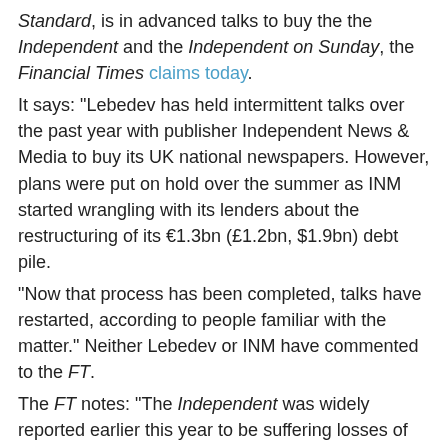Standard, is in advanced talks to buy the the Independent and the Independent on Sunday, the Financial Times claims today. It says: "Lebedev has held intermittent talks over the past year with publisher Independent News & Media to buy its UK national newspapers. However, plans were put on hold over the summer as INM started wrangling with its lenders about the restructuring of its €1.3bn (£1.2bn, $1.9bn) debt pile. "Now that process has been completed, talks have restarted, according to people familiar with the matter." Neither Lebedev or INM have commented to the FT. The FT notes: "The Independent was widely reported earlier this year to be suffering losses of more than £10m a year. INM's board, led by Gavin O'Reilly, had faced significant pressure from Denis O'Brien, the telecoms tycoon who currently holds 14 per cent, to dispose of the titles." Update: Media Guardian reported this afternoon that Independent News & Media confirmed it was in exclusive non-binding talks with Lebedev over the sale of the Independent and Independent on Sunday. INM said the period of exclusive talks with Lebedev over the future ownership of the two London-based papers ran until